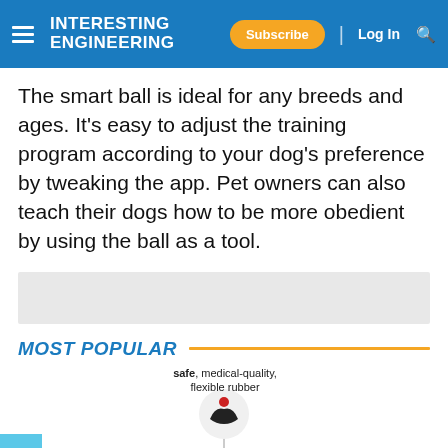INTERESTING ENGINEERING — Subscribe | Log In
The smart ball is ideal for any breeds and ages. It's easy to adjust the training program according to your dog's preference by tweaking the app. Pet owners can also teach their dogs how to be more obedient by using the ball as a tool.
MOST POPULAR
[Figure (infographic): Infographic showing a smart ball for dogs with labeled features: 'safe, medical-quality, flexible rubber' at top center with an icon of hands holding a ball; 'supper accurate built-in sensor' on the left with a clock/compass icon; 'shockproof mechanisms' on the right with a layered icon. A large cyan/blue ball is shown at the bottom center. A blue app icon is partially visible on the bottom left.]